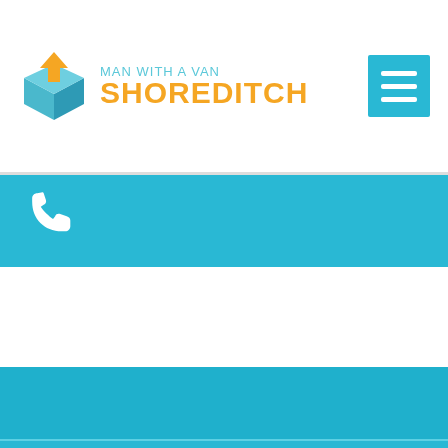[Figure (logo): Man With A Van Shoreditch logo with a blue cube box icon with an orange arrow on top, text 'MAN WITH A VAN' in teal and 'SHOREDITCH' in orange, and a teal hamburger menu button on the right]
[Figure (infographic): Teal/cyan horizontal banner with a white phone/telephone icon on the left]
[Figure (infographic): Bottom section with cyan/teal horizontal bands of slightly varying shades]